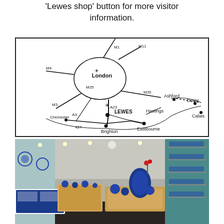'Lewes shop' button for more visitor information.
[Figure (map): Hand-drawn road map showing London and surrounding areas including motorways M1, M4, M3, M11, M20, M25, A3, A23, A27, and locations: London, Lewes, Brighton, Eastbourne, Hastings, Chichester, Ashford, Dover, Calais. Lewes is marked with a filled circle.]
[Figure (photo): Interior photo of the Lewes shop showing shelves filled with blue and white Polish pottery on the right, display tables with decorated ceramics in the foreground, teal walls, recessed ceiling lights, and a ceiling fan.]